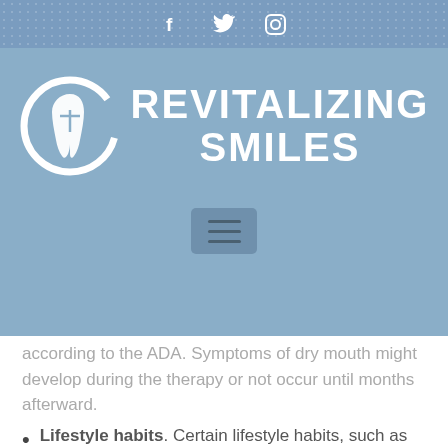[Figure (logo): Revitalizing Smiles dental clinic logo with social media icons bar (Facebook, Twitter, Instagram) on a blue patterned background, and a hamburger menu button below the logo]
according to the ADA. Symptoms of dry mouth might develop during the therapy or not occur until months afterward.
Lifestyle habits. Certain lifestyle habits, such as drinking a lot of alcohol, smoking or using tobacco products and using drugs such as cocaine, speed or marijuana can lead to